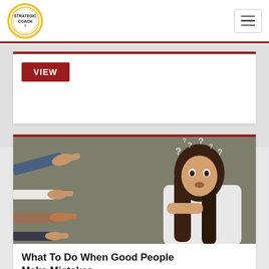[Figure (logo): Strategic Coach logo — circular gold/yellow ring with text STRATEGIC COACH inside]
[Figure (other): Hamburger menu icon — three horizontal lines in a rounded rectangle border]
VIEW
[Figure (photo): Multiple hands pointing fingers at a surprised young woman with long brown hair and question marks floating above her head, on a grey background]
What To Do When Good People Make Mistakes